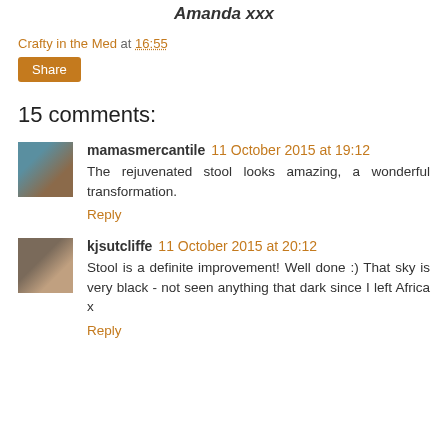Amanda xxx
Crafty in the Med at 16:55
Share
15 comments:
mamasmercantile 11 October 2015 at 19:12
The rejuvenated stool looks amazing, a wonderful transformation.
Reply
kjsutcliffe 11 October 2015 at 20:12
Stool is a definite improvement! Well done :) That sky is very black - not seen anything that dark since I left Africa x
Reply